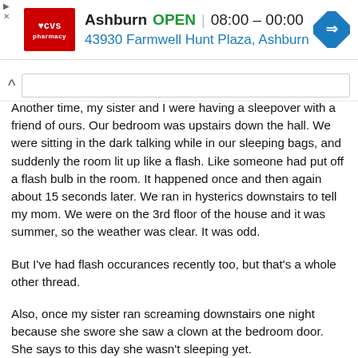[Figure (screenshot): CVS Pharmacy advertisement banner showing Ashburn location, OPEN status, hours 08:00-00:00, address 43930 Farmwell Hunt Plaza, Ashburn, with navigation icon]
Another time, my sister and I were having a sleepover with a friend of ours. Our bedroom was upstairs down the hall. We were sitting in the dark talking while in our sleeping bags, and suddenly the room lit up like a flash. Like someone had put off a flash bulb in the room. It happened once and then again about 15 seconds later. We ran in hysterics downstairs to tell my mom. We were on the 3rd floor of the house and it was summer, so the weather was clear. It was odd.
But I've had flash occurances recently too, but that's a whole other thread.
Also, once my sister ran screaming downstairs one night because she swore she saw a clown at the bedroom door. She says to this day she wasn't sleeping yet.